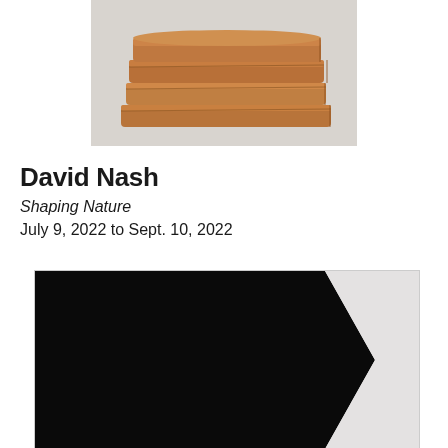[Figure (photo): Photograph of stacked flat wooden pieces (terracotta/tan colored), arranged in a neat stack, on a light gray background. Top portion of the photo is visible.]
David Nash
Shaping Nature
July 9, 2022 to Sept. 10, 2022
[Figure (photo): Artwork photograph showing a large black geometric shape (roughly an arrow or chevron pointing right) against a light gray/white background. Only the top portion is visible.]